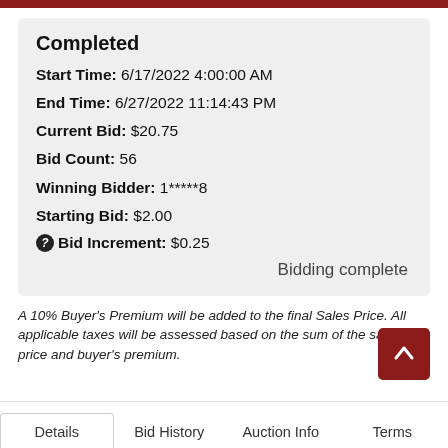Completed
Start Time: 6/17/2022 4:00:00 AM
End Time: 6/27/2022 11:14:43 PM
Current Bid: $20.75
Bid Count: 56
Winning Bidder: 1*****8
Starting Bid: $2.00
Bid Increment: $0.25
Bidding complete
A 10% Buyer's Premium will be added to the final Sales Price. All applicable taxes will be assessed based on the sum of the sales price and buyer's premium.
Details | Bid History | Auction Info | Terms